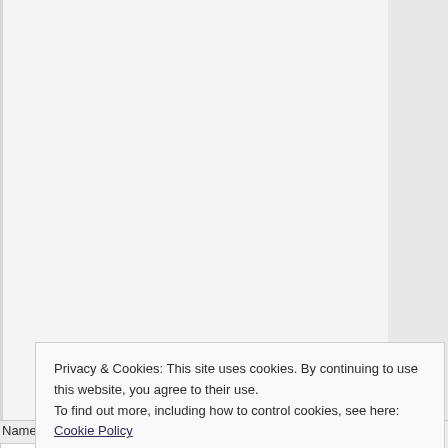[Figure (screenshot): Top portion of a webpage showing a comment/text area form section with grey background, partially visible.]
Name *
[Figure (screenshot): Name input field (text box, white background with grey border)]
Email *
[Figure (screenshot): Email input field (text box, white background with grey border)]
W (partial website label)
Privacy & Cookies: This site uses cookies. By continuing to use this website, you agree to their use.
To find out more, including how to control cookies, see here: Cookie Policy
Close and accept